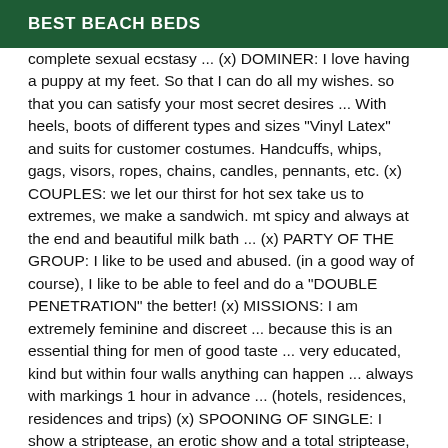BEST BEACH BEDS
complete sexual ecstasy ... (x) DOMINER: I love having a puppy at my feet. So that I can do all my wishes. so that you can satisfy your most secret desires ... With heels, boots of different types and sizes "Vinyl Latex" and suits for customer costumes. Handcuffs, whips, gags, visors, ropes, chains, candles, pennants, etc. (x) COUPLES: we let our thirst for hot sex take us to extremes, we make a sandwich. mt spicy and always at the end and beautiful milk bath ... (x) PARTY OF THE GROUP: I like to be used and abused. (in a good way of course), I like to be able to feel and do a "DOUBLE PENETRATION" the better! (x) MISSIONS: I am extremely feminine and discreet ... because this is an essential thing for men of good taste ... very educated, kind but within four walls anything can happen ... always with markings 1 hour in advance ... (hotels, residences, residences and trips) (x) SPOONING OF SINGLE: I show a striptease, an erotic show and a total striptease,